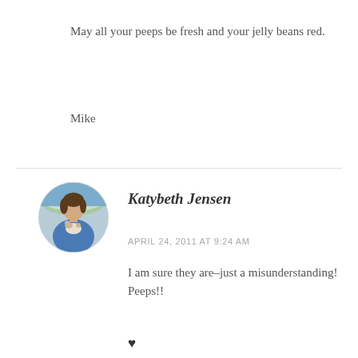May all your peeps be fresh and your jelly beans red.
Mike
[Figure (photo): Circular avatar photo of Katybeth Jensen, a woman in a blue shirt holding a small dog, outdoors with greenery in the background.]
Katybeth Jensen
APRIL 24, 2011 AT 9:24 AM
I am sure they are–just a misunderstanding!
Peeps!!
♥